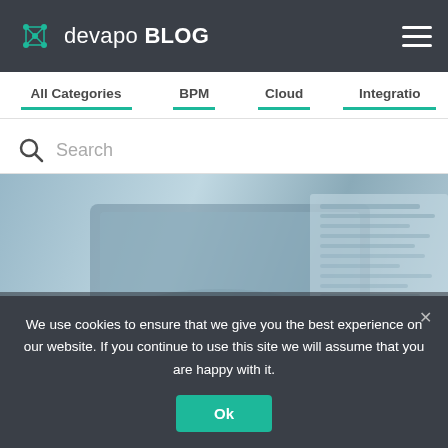devapo BLOG
All Categories | BPM | Cloud | Integratio...
Search
[Figure (photo): Photo of a laptop on a desk with a blue-grey tint, partially showing a text document on screen. A title overlay text appears at the bottom of the image.]
We use cookies to ensure that we give you the best experience on our website. If you continue to use this site we will assume that you are happy with it.
Ok